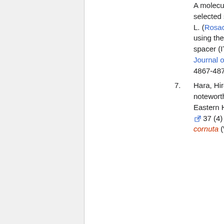A molecular phylogeny of selected species of genus Prunus L. (Rosaceae) from Pakistan using the internal transcribed spacer (ITS) spacer DNA African Journal of Biotechnology 9 (31) 4867-4872
Hara, Hiroshi 1962 New or noteworthy flowering plants from Eastern Himalaya (2) J. Jap. Bot. 37 (4) 97-100 □ Prunus cornuta (Wall. ex Royle) Steud.